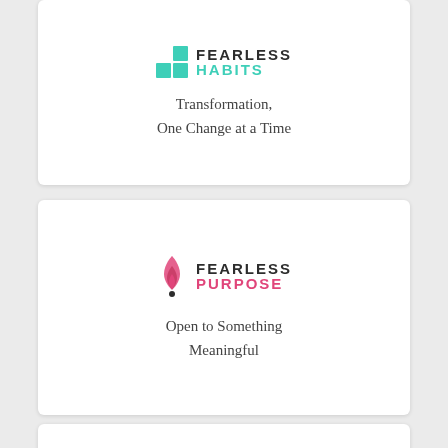[Figure (logo): Fearless Habits logo with teal grid squares icon and text 'FEARLESS HABITS']
Transformation,
One Change at a Time
[Figure (logo): Fearless Purpose logo with pink flame icon, text 'FEARLESS' in dark and 'PURPOSE' in pink]
Open to Something Meaningful
[Figure (logo): Fearless logo with blue lightning bolt icon and text 'FEARLESS']